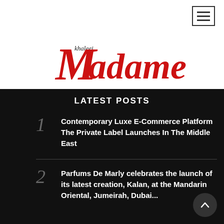[Figure (logo): Khaleej Madame logo — cursive red 'Madame' with small black 'khaleej' text integrated]
LATEST POSTS
1 Contemporary Luxe E-Commerce Platform The Private Label Launches In The Middle East
2 Parfums De Marly celebrates the launch of its latest creation, Kalan, at the Mandarin Oriental, Jumeirah, Dubai...